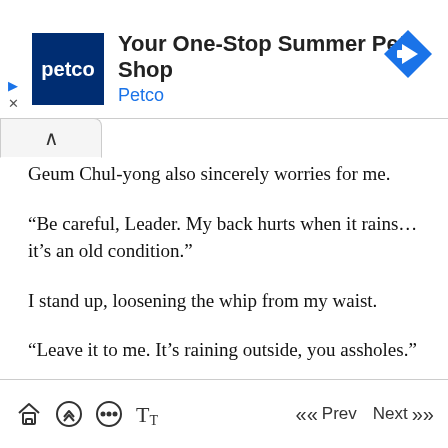[Figure (screenshot): Petco advertisement banner: 'Your One-Stop Summer Pet Shop' with Petco logo and navigation icon]
Geum Chul-yong also sincerely worries for me.
“Be careful, Leader. My back hurts when it rains… it’s an old condition.”
I stand up, loosening the whip from my waist.
“Leave it to me. It’s raining outside, you assholes.”
Geum Chul-yong says to Jang Deuk-soo when I leave the store.
Home  Up  Chat  Text  << Prev  Next >>